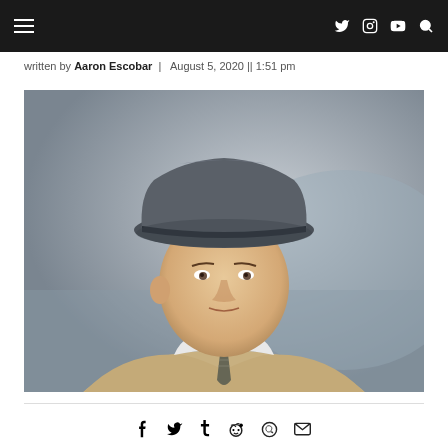Navigation bar with hamburger menu and social icons (Twitter, Instagram, YouTube, Search)
written by Aaron Escobar  |  August 5, 2020 || 1:51 pm
[Figure (photo): A middle-aged man wearing a gray fedora hat and a beige trench coat with a white dress shirt and striped tie, photographed from the shoulders up in a cinematic style with a blurred background.]
Share icons: Facebook, Twitter, Tumblr, Reddit, WhatsApp, Email